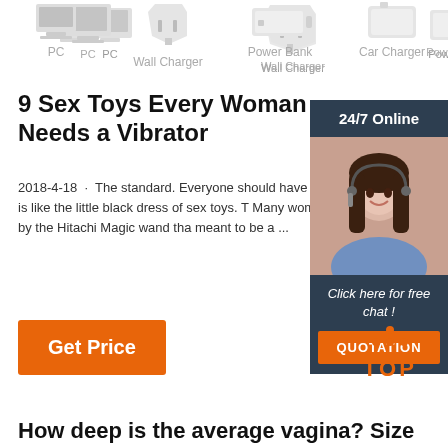[Figure (illustration): Four device icons in a row: PC, Wall Charger, Power Bank, Car Charger with labels below each icon]
9 Sex Toys Every Woman Needs a Vibrator
2018-4-18 · The standard. Everyone should have vibrator. It is like the little black dress of sex toys. T Many women swear by the Hitachi Magic wand tha meant to be a ...
[Figure (illustration): Sidebar with 24/7 Online text, photo of woman with headset, Click here for free chat! text, and QUOTATION button]
Get Price
[Figure (illustration): TOP button with orange dots above forming a triangle shape]
How deep is the average vagina? Size